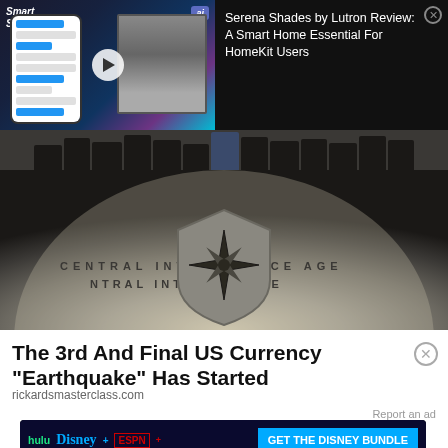[Figure (screenshot): Smart Shades advertisement video thumbnail with phone mockup showing home automation app, play button overlay, and 'ai' badge. Text reads 'Smart Shades!']
Serena Shades by Lutron Review: A Smart Home Essential For HomeKit Users
[Figure (photo): Photo of people standing in the CIA headquarters lobby in front of the Central Intelligence Agency seal embedded in the floor]
The 3rd And Final US Currency "Earthquake" Has Started
rickardsmasterclass.com
Report an ad
[Figure (screenshot): Disney Bundle advertisement banner showing Hulu, Disney+, and ESPN+ logos with 'GET THE DISNEY BUNDLE' call to action button. Fine print: Incl. Hulu (ad-supported) or Hulu (No Ads). Access content from each service separately. ©2021 Disney and its related entities]